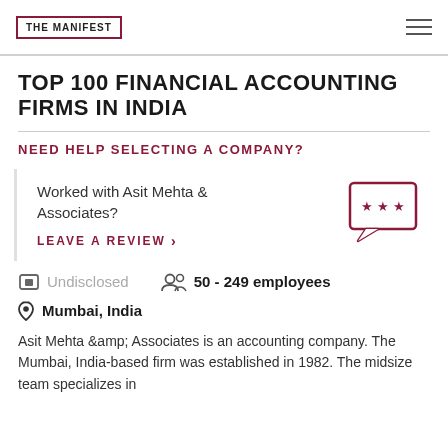THE MANIFEST
TOP 100 FINANCIAL ACCOUNTING FIRMS IN INDIA
NEED HELP SELECTING A COMPANY?
Worked with Asit Mehta & Associates?
LEAVE A REVIEW >
Undisclosed
50 - 249 employees
Mumbai, India
Asit Mehta &amp; Associates is an accounting company. The Mumbai, India-based firm was established in 1982. The midsize team specializes in